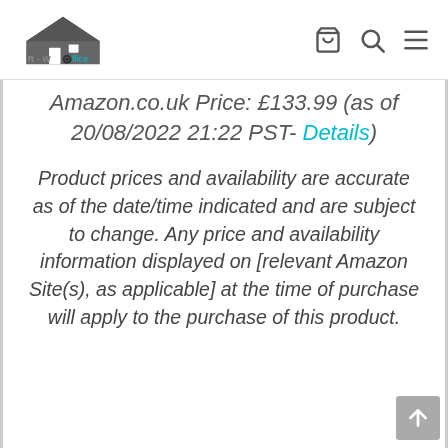[Figure (logo): R-Woffice logo with house icon and webcam]
Amazon.co.uk Price: £133.99 (as of 20/08/2022 21:22 PST- Details)
Product prices and availability are accurate as of the date/time indicated and are subject to change. Any price and availability information displayed on [relevant Amazon Site(s), as applicable] at the time of purchase will apply to the purchase of this product.